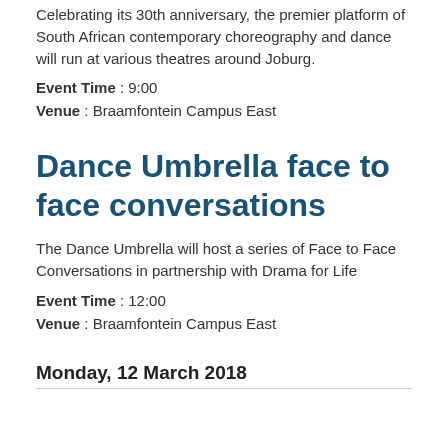Celebrating its 30th anniversary, the premier platform of South African contemporary choreography and dance will run at various theatres around Joburg.
Event Time : 9:00
Venue : Braamfontein Campus East
Dance Umbrella face to face conversations
The Dance Umbrella will host a series of Face to Face Conversations in partnership with Drama for Life
Event Time : 12:00
Venue : Braamfontein Campus East
Monday, 12 March 2018